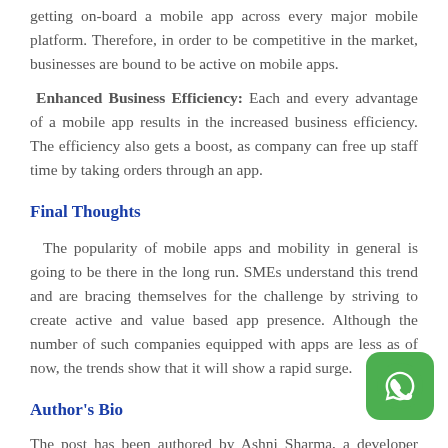getting on-board a mobile app across every major mobile platform. Therefore, in order to be competitive in the market, businesses are bound to be active on mobile apps.
Enhanced Business Efficiency: Each and every advantage of a mobile app results in the increased business efficiency. The efficiency also gets a boost, as company can free up staff time by taking orders through an app.
Final Thoughts
The popularity of mobile apps and mobility in general is going to be there in the long run. SMEs understand this trend and are bracing themselves for the challenge by striving to create active and value based app presence. Although the number of such companies equipped with apps are less as of now, the trends show that it will show a rapid surge.
Author's Bio
The post has been authored by Ashni Sharma, a developer employed with AppsChopper. Apart from writing